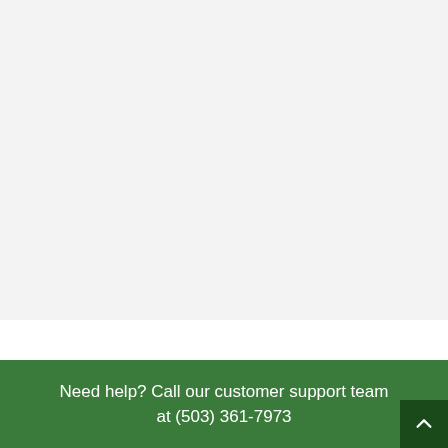[Figure (other): Large light gray blank content area taking up the upper portion of the page]
Need help? Call our customer support team at (503) 361-7973